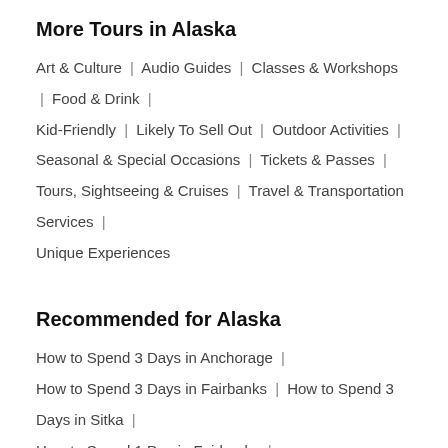More Tours in Alaska
Art & Culture | Audio Guides | Classes & Workshops | Food & Drink | Kid-Friendly | Likely To Sell Out | Outdoor Activities | Seasonal & Special Occasions | Tickets & Passes | Tours, Sightseeing & Cruises | Travel & Transportation Services | Unique Experiences
Recommended for Alaska
How to Spend 3 Days in Anchorage | How to Spend 3 Days in Fairbanks | How to Spend 3 Days in Sitka | How to Spend 1 Day in Fairbanks | How to Spend 2 Days in Fairbanks | How to Spend 1 Day in Anchorage | How to Spend 2 Days in Skagway | Northern Lights Tours in Alaska